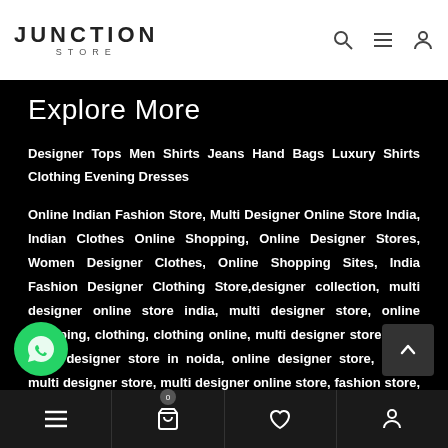JUNCTION STORE
Explore More
Designer Tops Men Shirts Jeans Hand Bags Luxury Shirts Clothing Evening Dresses
Online Indian Fashion Store, Multi Designer Online Store India, Indian Clothes Online Shopping, Online Designer Stores, Women Designer Clothes, Online Shopping Sites, India Fashion Designer Clothing Store,designer collection, multi designer online store india, multi designer store, online shopping, clothing, clothing online, multi designer store india, multi designer store in noida, online designer store, online multi designer store, multi designer online store, fashion store, shop online, retail shop, online fashion store, online clothing stores, online shopping for women, womens clothing online, womens clothing
Navigation bar with menu, cart (0), wishlist, account icons